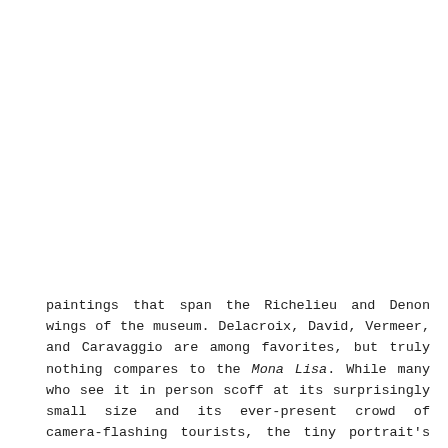paintings that span the Richelieu and Denon wings of the museum. Delacroix, David, Vermeer, and Caravaggio are among favorites, but truly nothing compares to the Mona Lisa. While many who see it in person scoff at its surprisingly small size and its ever-present crowd of camera-flashing tourists, the tiny portrait's draw is what makes it incredible. For a man to have created a single work of art that is recognized by all and is the most visited piece in the most visited collection of nearly 35,000 pieces, well, that's magic. I love I. M. Pei's glass pyramid, the distinct parquet floor of the Grand Gallery, wall after wall of masterpieces, and how I still have to pronounce it Loo-vrah.
Posted in artists, my favorite places, nostalgia, travel | Tagged paris, the louvre | Leave a comment
Musée d'Orsay in Miniature
10 August 2010